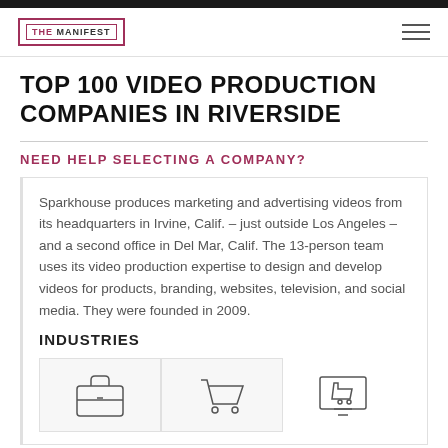THE MANIFEST
TOP 100 VIDEO PRODUCTION COMPANIES IN RIVERSIDE
NEED HELP SELECTING A COMPANY?
Sparkhouse produces marketing and advertising videos from its headquarters in Irvine, Calif. – just outside Los Angeles – and a second office in Del Mar, Calif. The 13-person team uses its video production expertise to design and develop videos for products, branding, websites, television, and social media. They were founded in 2009.
INDUSTRIES
[Figure (illustration): Three industry icons: briefcase, shopping cart, and computer/monitor with cart, representing different industry categories.]